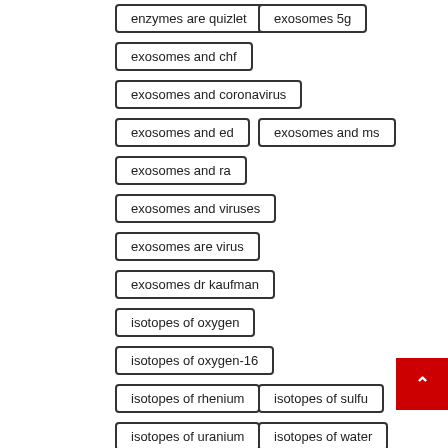enzymes are quizlet
exosomes 5g
exosomes and chf
exosomes and coronavirus
exosomes and ed
exosomes and ms
exosomes and ra
exosomes and viruses
exosomes are virus
exosomes dr kaufman
isotopes of oxygen
isotopes of oxygen-16
isotopes of rhenium
isotopes of sulfur
isotopes of uranium
isotopes of water